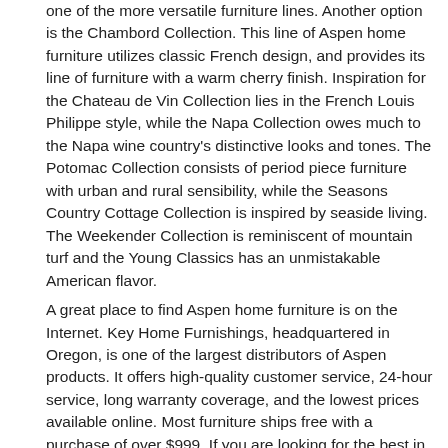one of the more versatile furniture lines. Another option is the Chambord Collection. This line of Aspen home furniture utilizes classic French design, and provides its line of furniture with a warm cherry finish. Inspiration for the Chateau de Vin Collection lies in the French Louis Philippe style, while the Napa Collection owes much to the Napa wine country's distinctive looks and tones. The Potomac Collection consists of period piece furniture with urban and rural sensibility, while the Seasons Country Cottage Collection is inspired by seaside living. The Weekender Collection is reminiscent of mountain turf and the Young Classics has an unmistakable American flavor.
A great place to find Aspen home furniture is on the Internet. Key Home Furnishings, headquartered in Oregon, is one of the largest distributors of Aspen products. It offers high-quality customer service, 24-hour service, long warranty coverage, and the lowest prices available online. Most furniture ships free with a purchase of over $999. If you are looking for the best in sofas, sectionals, chairs, or entertainment centers.